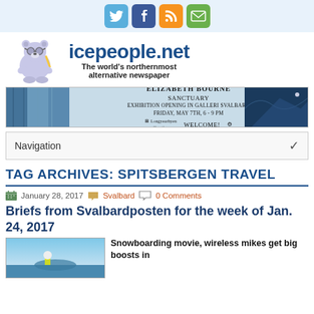[Figure (other): Social media icons bar: Twitter (blue), Facebook (dark blue), RSS (orange), Email (green)]
[Figure (logo): icepeople.net logo with polar bear mascot illustration and tagline 'The world's northernmost alternative newspaper']
[Figure (other): Elizabeth Bourne Sanctuary exhibition advertisement banner for Galleri Svalbard, Friday May 7th 6-9pm]
Navigation
TAG ARCHIVES: SPITSBERGEN TRAVEL
January 28, 2017   Svalbard   0 Comments
Briefs from Svalbardposten for the week of Jan. 24, 2017
Snowboarding movie, wireless mikes get big boosts in